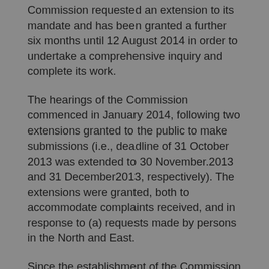Commission requested an extension to its mandate and has been granted a further six months until 12 August 2014 in order to undertake a comprehensive inquiry and complete its work.
The hearings of the Commission commenced in January 2014, following two extensions granted to the public to make submissions (i.e., deadline of 31 October 2013 was extended to 30 November.2013 and 31 December2013, respectively). The extensions were granted, both to accommodate complaints received, and in response to (a) requests made by persons in the North and East.
Since the establishment of the Commission on Disappearances on August 12, 2013, it has issued Public Notices on three occasions (i.e., October, November and December 2013) in all three languages and in all major newspapers calling on relatives of missing persons to submit their complaints to the Commission. The final Public